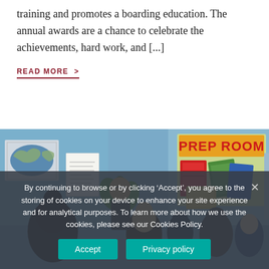training and promotes a boarding education. The annual awards are a chance to celebrate the achievements, hard work, and [...]
READ MORE >
[Figure (photo): Classroom scene with students seated facing a teacher, blue walls, a world map poster, a plant, and a bulletin board reading 'PREP ROOM' with colorful displays.]
By continuing to browse or by clicking ‘Accept’, you agree to the storing of cookies on your device to enhance your site experience and for analytical purposes. To learn more about how we use the cookies, please see our Cookies Policy.
Accept
Privacy policy